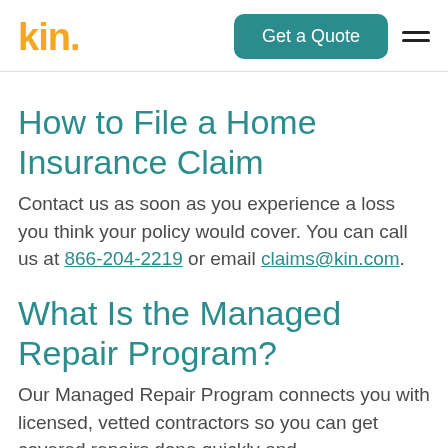kin. | Get a Quote
How to File a Home Insurance Claim
Contact us as soon as you experience a loss you think your policy would cover. You can call us at 866-204-2219 or email claims@kin.com.
What Is the Managed Repair Program?
Our Managed Repair Program connects you with licensed, vetted contractors so you can get covered repairs done quickly and